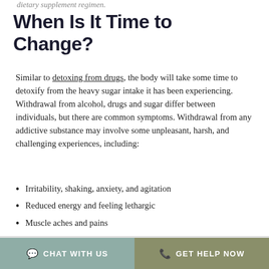dietary supplement regimen.
When Is It Time to Change?
Similar to detoxing from drugs, the body will take some time to detoxify from the heavy sugar intake it has been experiencing. Withdrawal from alcohol, drugs and sugar differ between individuals, but there are common symptoms. Withdrawal from any addictive substance may involve some unpleasant, harsh, and challenging experiences, including:
Irritability, shaking, anxiety, and agitation
Reduced energy and feeling lethargic
Muscle aches and pains
Gastrointestinal issues including abdominal cramping, nausea, vomiting, and diarrhea
CHAT WITH US   GET HELP NOW